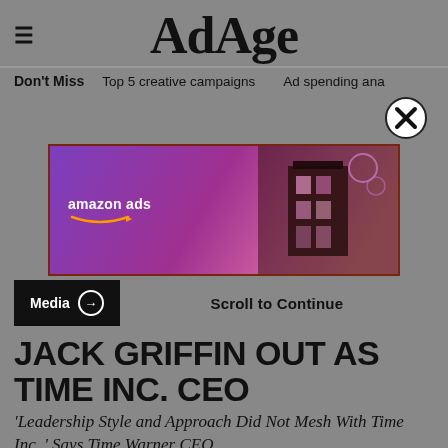AdAge
Don't Miss   Top 5 creative campaigns   Ad spending ana
[Figure (other): Close/dismiss button with X icon circle]
[Figure (other): Amazon Ads banner advertisement with purple to pink gradient and architectural imagery]
Media →
Scroll to Continue
JACK GRIFFIN OUT AS TIME INC. CEO
'Leadership Style and Approach Did Not Mesh With Time Inc.,' Says Time Warner CEO